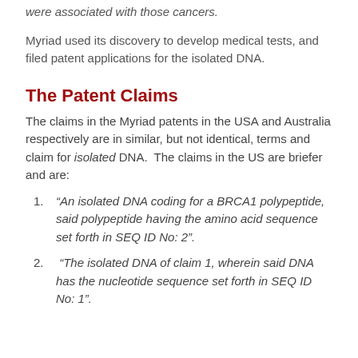were associated with those cancers.
Myriad used its discovery to develop medical tests, and filed patent applications for the isolated DNA.
The Patent Claims
The claims in the Myriad patents in the USA and Australia respectively are in similar, but not identical, terms and claim for isolated DNA.  The claims in the US are briefer and are:
"An isolated DNA coding for a BRCA1 polypeptide, said polypeptide having the amino acid sequence set forth in SEQ ID No: 2".
"The isolated DNA of claim 1, wherein said DNA has the nucleotide sequence set forth in SEQ ID No: 1".